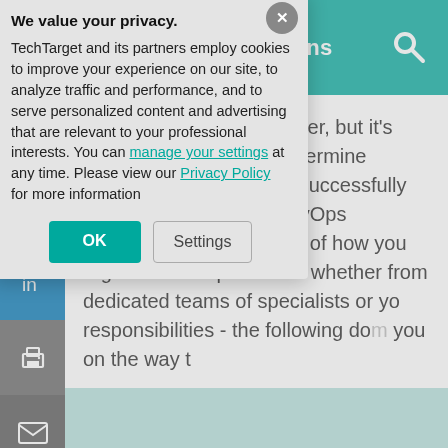SearchITOperations
Processes and tools matter, but it's people that ultimately determine whether a business can successfully transform itself into a DevOps organization. Regardless of how you organize DevOps roles -- whether you from dedicated teams of specialists or you -- responsibilities - the following do you on the way t
We value your privacy. TechTarget and its partners employ cookies to improve your experience on our site, to analyze traffic and performance, and to serve personalized content and advertising that are relevant to your professional interests. You can manage your settings at any time. Please view our Privacy Policy for more information